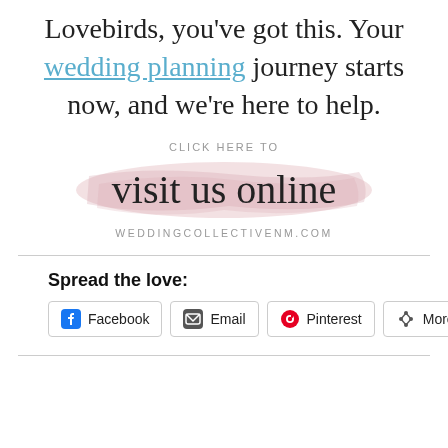Lovebirds, you've got this. Your wedding planning journey starts now, and we're here to help.
[Figure (illustration): Decorative banner with pink watercolor brush stroke background, cursive text 'visit us online', text above 'CLICK HERE TO', and website URL 'WEDDINGCOLLECTIVENM.COM' below]
Spread the love:
[Figure (other): Social sharing buttons: Facebook, Email, Pinterest, More]